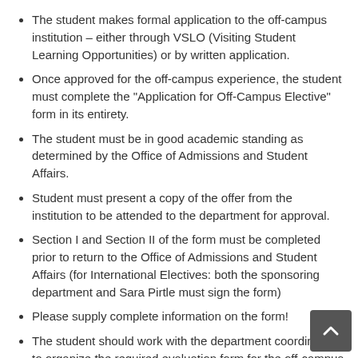The student makes formal application to the off-campus institution – either through VSLO (Visiting Student Learning Opportunities) or by written application.
Once approved for the off-campus experience, the student must complete the "Application for Off-Campus Elective" form in its entirety.
The student must be in good academic standing as determined by the Office of Admissions and Student Affairs.
Student must present a copy of the offer from the institution to be attended to the department for approval.
Section I and Section II of the form must be completed prior to return to the Office of Admissions and Student Affairs (for International Electives: both the sponsoring department and Sara Pirtle must sign the form)
Please supply complete information on the form!
The student should work with the department coordinator to organize the required evaluation form for the off-campus elective. A grade cannot be given without the completion of an